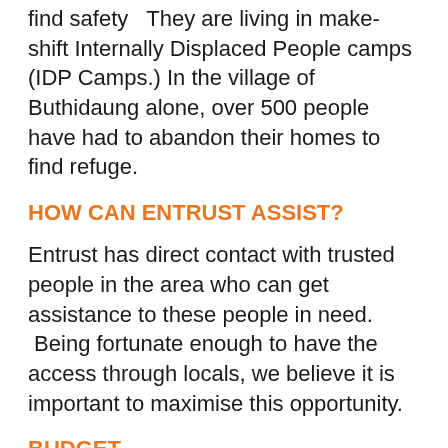find safety   They are living in make-shift Internally Displaced People camps (IDP Camps.) In the village of Buthidaung alone, over 500 people have had to abandon their homes to find refuge.
HOW CAN ENTRUST ASSIST?
Entrust has direct contact with trusted people in the area who can get assistance to these people in need.  Being fortunate enough to have the access through locals, we believe it is important to maximise this opportunity.
BUDGET
We have not set a budget but guarantee we will send 100% of whatever funds are donated.
THE NEED